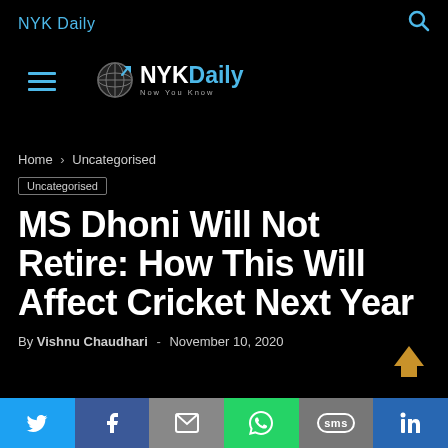NYK Daily
[Figure (logo): NYK Daily logo with globe icon and text NYKDaily Now You Know, hamburger menu icon on left]
Home › Uncategorised
Uncategorised
MS Dhoni Will Not Retire: How This Will Affect Cricket Next Year
By Vishnu Chaudhari - November 10, 2020